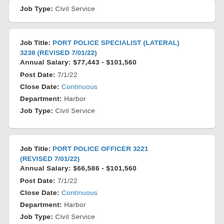Job Type: Civil Service
Job Title: PORT POLICE SPECIALIST (LATERAL) 3238 (REVISED 7/01/22)
Annual Salary: $77,443 - $101,560
Post Date: 7/1/22
Close Date: Continuous
Department: Harbor
Job Type: Civil Service
Job Title: PORT POLICE OFFICER 3221 (REVISED 7/01/22)
Annual Salary: $66,586 - $101,560
Post Date: 7/1/22
Close Date: Continuous
Department: Harbor
Job Type: Civil Service